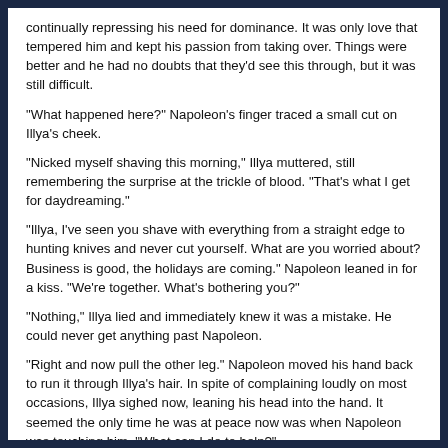continually repressing his need for dominance. It was only love that tempered him and kept his passion from taking over. Things were better and he had no doubts that they'd see this through, but it was still difficult.
"What happened here?" Napoleon's finger traced a small cut on Illya's cheek.
"Nicked myself shaving this morning," Illya muttered, still remembering the surprise at the trickle of blood. "That's what I get for daydreaming."
"Illya, I've seen you shave with everything from a straight edge to hunting knives and never cut yourself. What are you worried about? Business is good, the holidays are coming." Napoleon leaned in for a kiss. "We're together. What's bothering you?"
"Nothing," Illya lied and immediately knew it was a mistake. He could never get anything past Napoleon.
"Right and now pull the other leg." Napoleon moved his hand back to run it through Illya's hair. In spite of complaining loudly on most occasions, Illya sighed now, leaning his head into the hand. It seemed the only time he was at peace now was when Napoleon was touching him. "What can I do to help?"